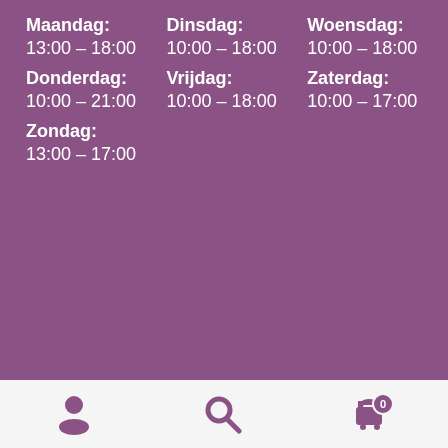Maandag:
13:00 – 18:00
Dinsdag:
10:00 – 18:00
Woensdag:
10:00 – 18:00
Donderdag:
10:00 – 21:00
Vrijdag:
10:00 – 18:00
Zaterdag:
10:00 – 17:00
Zondag:
13:00 – 17:00
Navigation icons: account, search, cart (0)